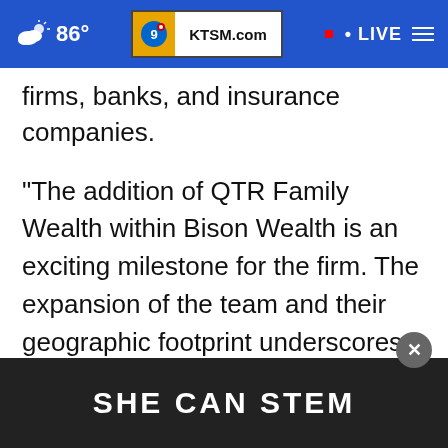86° KTSM.com • LIVE
firms, banks, and insurance companies.
"The addition of QTR Family Wealth within Bison Wealth is an exciting milestone for the firm. The expansion of the team and their geographic footprint underscores their long-term commitment to increasing their clients' accessibility to wealth management solutions," said David Canter, Head of the RIA and Family Office [segment at Fidelity Institutional. "We're excited...]
[Figure (screenshot): SHE CAN STEM advertisement banner overlay at bottom of screen with close button]